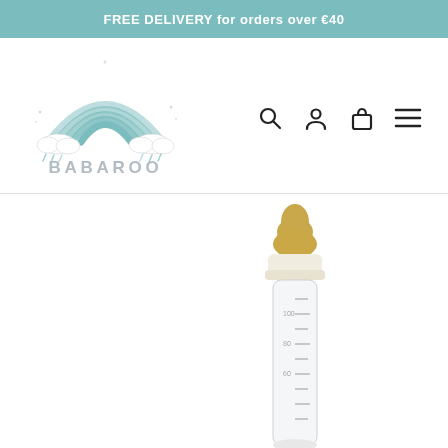FREE DELIVERY for orders over €40
[Figure (logo): Babaroo logo with rainbow and clouds illustration above the text BABAROO]
[Figure (infographic): Navigation icons: search magnifying glass, user account person, shopping bag, hamburger menu]
[Figure (photo): Baby feeding bottle with golden/amber latex nipple and clear glass bottle body with measurement markings, partially visible, product photo on white background]